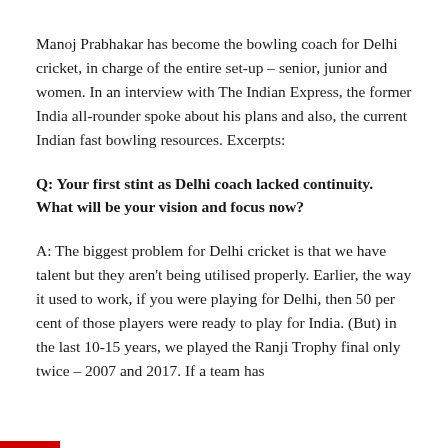Manoj Prabhakar has become the bowling coach for Delhi cricket, in charge of the entire set-up – senior, junior and women. In an interview with The Indian Express, the former India all-rounder spoke about his plans and also, the current Indian fast bowling resources. Excerpts:
Q: Your first stint as Delhi coach lacked continuity. What will be your vision and focus now?
A: The biggest problem for Delhi cricket is that we have talent but they aren't being utilised properly. Earlier, the way it used to work, if you were playing for Delhi, then 50 per cent of those players were ready to play for India. (But) in the last 10-15 years, we played the Ranji Trophy final only twice – 2007 and 2017. If a team has